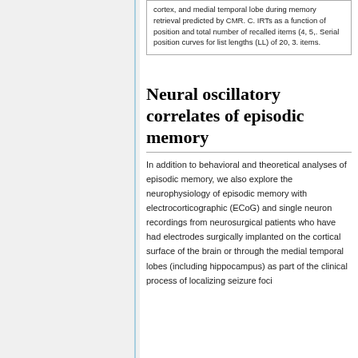cortex, and medial temporal lobe during memory retrieval predicted by CMR. C. IRTs as a function of position and total number of recalled items (4, 5, ... Serial position curves for list lengths (LL) of 20, 3... items.
Neural oscillatory correlates of episodic memory
In addition to behavioral and theoretical analyses of episodic memory, we also explore the neurophysiology of episodic memory with electrocorticographic (ECoG) and single neuron recordings from neurosurgical patients who have had electrodes surgically implanted on the cortical surface of the brain or through the medial temporal lobes (including hippocampus) as part of the clinical process of localizing seizure foci